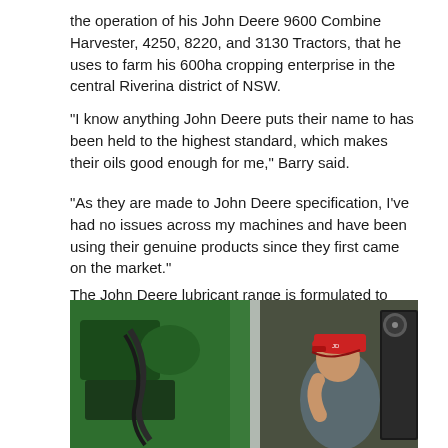the operation of his John Deere 9600 Combine Harvester, 4250, 8220, and 3130 Tractors, that he uses to farm his 600ha cropping enterprise in the central Riverina district of NSW.
"I know anything John Deere puts their name to has been held to the highest standard, which makes their oils good enough for me," Barry said.
"As they are made to John Deere specification, I've had no issues across my machines and have been using their genuine products since they first came on the market."
The John Deere lubricant range is formulated to perform under heavy loads and dry conditions, which is a requirement for Barry on his home property “Glenwood” that he runs in partnership with his wife Helen and son Steven.
[Figure (photo): A man wearing a red cap working on green John Deere machinery. He appears to be inspecting or operating equipment. The photo is taken in close-up with the green machine parts prominent.]